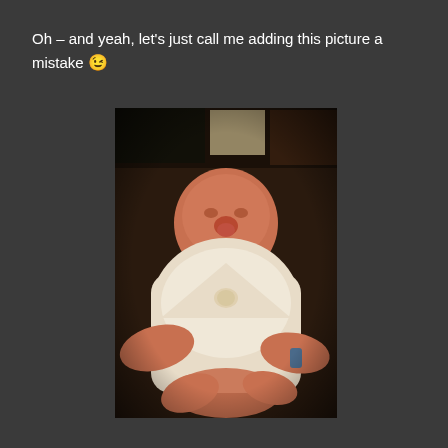Oh – and yeah, let's just call me adding this picture a mistake 😉
[Figure (photo): A black and white/sepia-toned close-up photograph of a newborn baby lying down, appearing to be in a hospital setting. The baby's face is visible and there are hands visible near the baby.]